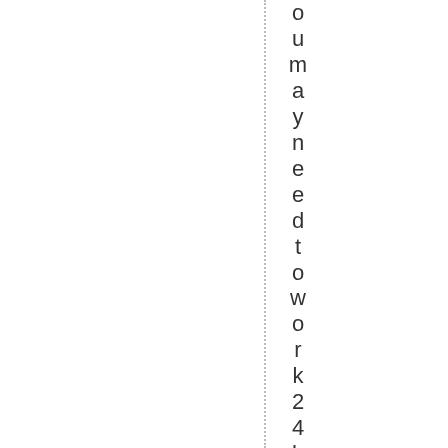ou may need to work 24 hrs a day to keep p